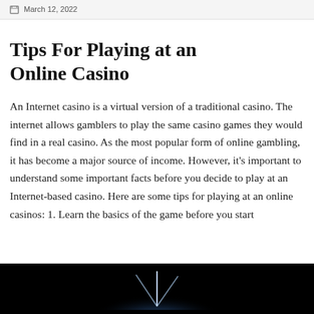March 12, 2022
Tips For Playing at an Online Casino
An Internet casino is a virtual version of a traditional casino. The internet allows gamblers to play the same casino games they would find in a real casino. As the most popular form of online gambling, it has become a major source of income. However, it's important to understand some important facts before you decide to play at an Internet-based casino. Here are some tips for playing at an online casinos: 1. Learn the basics of the game before you start
[Figure (photo): Dark image at the bottom of the page, appears to show a glowing light against a dark background.]